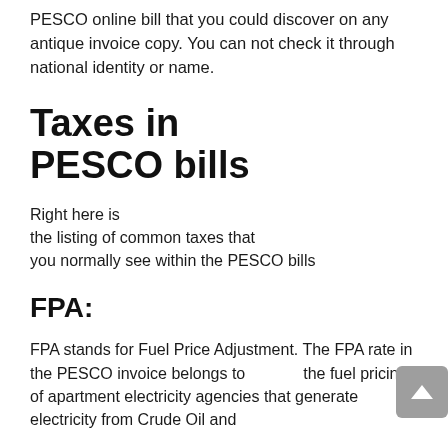PESCO online bill that you could discover on any antique invoice copy. You can not check it through national identity or name.
Taxes in PESCO bills
Right here is the listing of common taxes that you normally see within the PESCO bills
FPA:
FPA stands for Fuel Price Adjustment. The FPA rate in the PESCO invoice belongs to the fuel pricing of apartment electricity agencies that generate electricity from Crude Oil and